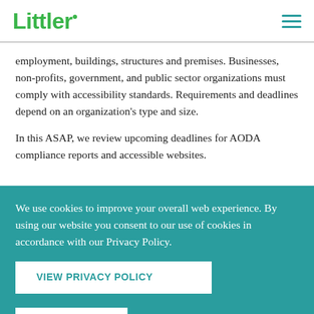Littler
employment, buildings, structures and premises.  Businesses, non-profits, government, and public sector organizations must comply with accessibility standards.  Requirements and deadlines depend on an organization's type and size.
In this ASAP, we review upcoming deadlines for AODA compliance reports and accessible websites.
We use cookies to improve your overall web experience. By using our website you consent to our use of cookies in accordance with our Privacy Policy.
VIEW PRIVACY POLICY
I AGREE